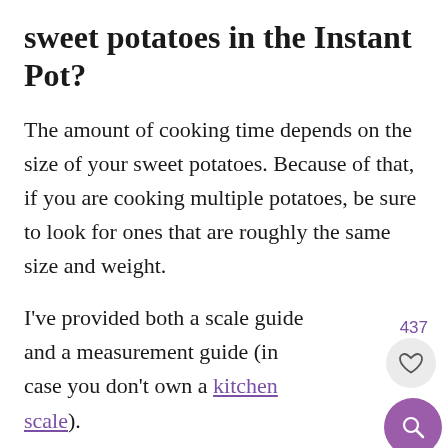sweet potatoes in the Instant Pot?
The amount of cooking time depends on the size of your sweet potatoes. Because of that, if you are cooking multiple potatoes, be sure to look for ones that are roughly the same size and weight.
I've provided both a scale guide and a measurement guide (in case you don't own a kitchen scale).
Here are the general guidelines :